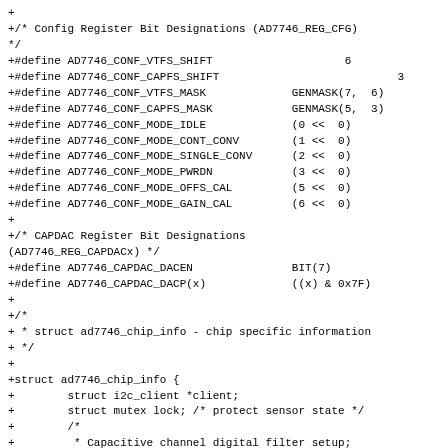+
+/* Config Register Bit Designations (AD7746_REG_CFG)
*/
+#define AD7746_CONF_VTFS_SHIFT                    6
+#define AD7746_CONF_CAPFS_SHIFT                           3
+#define AD7746_CONF_VTFS_MASK             GENMASK(7,  6)
+#define AD7746_CONF_CAPFS_MASK            GENMASK(5,  3)
+#define AD7746_CONF_MODE_IDLE             (0 <<  0)
+#define AD7746_CONF_MODE_CONT_CONV        (1 <<  0)
+#define AD7746_CONF_MODE_SINGLE_CONV      (2 <<  0)
+#define AD7746_CONF_MODE_PWRDN            (3 <<  0)
+#define AD7746_CONF_MODE_OFFS_CAL         (5 <<  0)
+#define AD7746_CONF_MODE_GAIN_CAL         (6 <<  0)
+
+/* CAPDAC Register Bit Designations
(AD7746_REG_CAPDACx) */
+#define AD7746_CAPDAC_DACEN               BIT(7)
+#define AD7746_CAPDAC_DACP(x)             ((x) & 0x7F)
+
+/*
+ * struct ad7746_chip_info - chip specific information
+ */
+
+struct ad7746_chip_info {
+        struct i2c_client *client;
+        struct mutex lock; /* protect sensor state */
+        /*
+         * Capacitive channel digital filter setup;
+         * conversion time/update rate setup per
channel